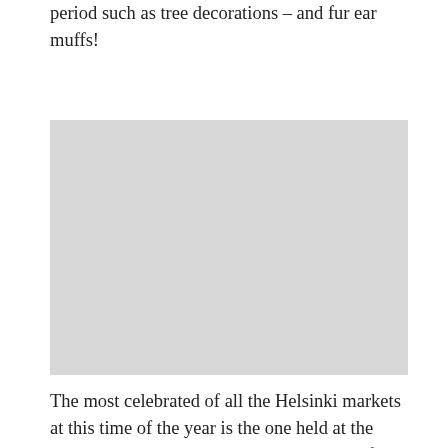period such as tree decorations – and fur ear muffs!
[Figure (photo): A photograph, placeholder area in the middle of the page]
The most celebrated of all the Helsinki markets at this time of the year is the one held at the well-known Esplanade Park in the centre of the city,